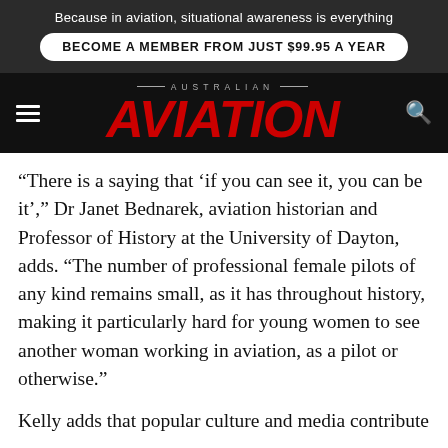Because in aviation, situational awareness is everything
BECOME A MEMBER FROM JUST $99.95 A YEAR
AUSTRALIAN AVIATION
“There is a saying that ‘if you can see it, you can be it’,” Dr Janet Bednarek, aviation historian and Professor of History at the University of Dayton, adds. “The number of professional female pilots of any kind remains small, as it has throughout history, making it particularly hard for young women to see another woman working in aviation, as a pilot or otherwise.”
Kelly adds that popular culture and media contribute